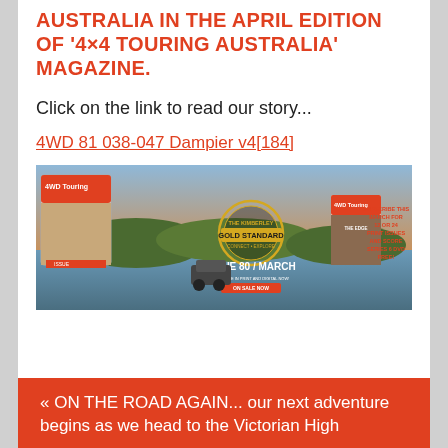AUSTRALIA IN THE APRIL EDITION OF '4×4 TOURING AUSTRALIA' MAGAZINE.
Click on the link to read our story...
4WD 81 038-047 Dampier v4[184]
[Figure (photo): Advertisement banner for 4WD Touring magazine Issue 80 / March, featuring a river scene with a 4WD vehicle, 'Gold Standard' badge, and subscription offer text.]
« ON THE ROAD AGAIN... our next adventure begins as we head to the Victorian High